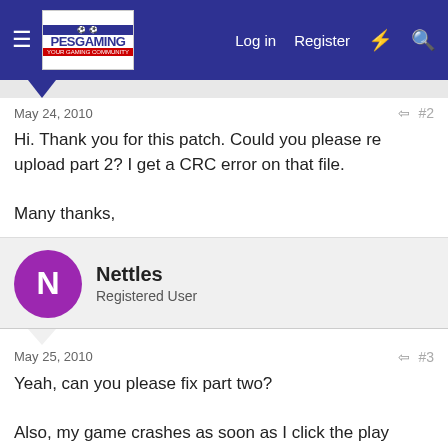PESGaming — Log in | Register
May 24, 2010   #2
Hi. Thank you for this patch. Could you please re upload part 2? I get a CRC error on that file.

Many thanks,
Nettles
Registered User
May 25, 2010   #3
Yeah, can you please fix part two?

Also, my game crashes as soon as I click the play button or click on the edit screen. It is unable to get to the actual gameplay. I'm guessing that this is because of an installation problem? I copied/pasted all the files from this download into my